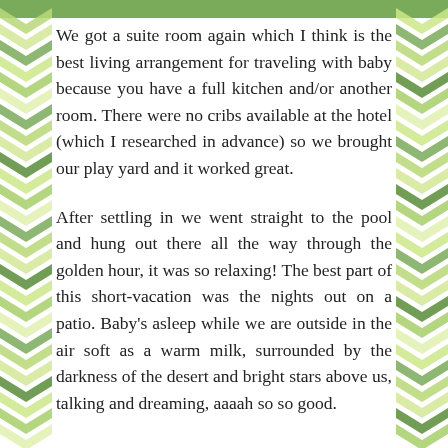We got a suite room again which I think is the best living arrangement for traveling with baby because you have a full kitchen and/or another room. There were no cribs available at the hotel (which I researched in advance) so we brought our play yard and it worked great.
After settling in we went straight to the pool and hung out there all the way through the golden hour, it was so relaxing! The best part of this short-vacation was the nights out on a patio. Baby's asleep while we are outside in the air soft as a warm milk, surrounded by the darkness of the desert and bright stars above us, talking and dreaming, aaaah so so good.